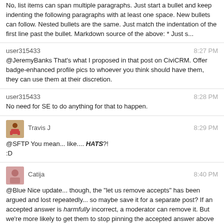No, list items can span multiple paragraphs. Just start a bullet and keep indenting the following paragraphs with at least one space. New bullets can follow. Nested bullets are the same. Just match the indentation of the first line past the bullet. Markdown source of the above: * Just s...
user315433  8:27 PM
@JeremyBanks That's what I proposed in that post on CiviCRM. Offer badge-enhanced profile pics to whoever you think should have them, they can use them at their discretion.
user315433  8:28 PM
No need for SE to do anything for that to happen.
Travis J  8:29 PM
@SFTP You mean... like.... HATS?!
:D
Catija  8:40 PM
@Blue Nice update... though, the "let us remove accepts" has been argued and lost repeatedly... so maybe save it for a separate post? If an accepted answer is harmfully incorrect, a moderator can remove it. But we're more likely to get them to stop pinning the accepted answer above the highest voted one than the ability to remove the check mark.
I'd hate for your answer to be downvoted because people disagree with that last paragraph.
user387132  8:41 PM
@Catija That makes sense, okay, I'll remove it
user387132  8:41 PM